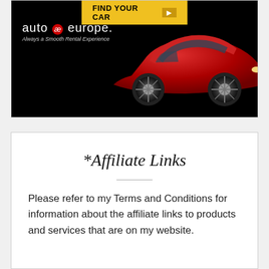[Figure (illustration): Auto Europe car rental advertisement showing a red sports car on a black background, with a yellow 'FIND YOUR CAR >' button at top and the Auto Europe logo with tagline 'Always a Smooth Rental Experience']
*Affiliate Links
Please refer to my Terms and Conditions for information about the affiliate links to products and services that are on my website.